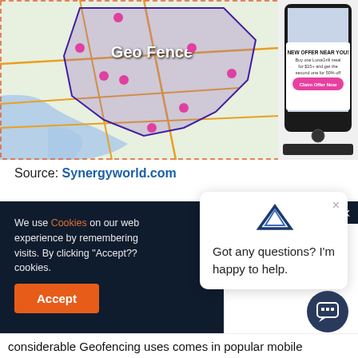[Figure (screenshot): Screenshot of a map showing a geo-fence boundary drawn over a San Diego area map with purple polygon and pink location markers, with 'Geo Fence' text overlay. Also shows a smartphone with a 'NEW OFFER NEAR YOU!' notification from LunaGrill with 'Claim Offer Now' button.]
Source: Synergyworld.com
We use Cookies on our web... experience by remembering... visits. By clicking "Accept??... cookies.
Got any questions? I'm happy to help.
considerable Geofencing uses comes in popular mobile